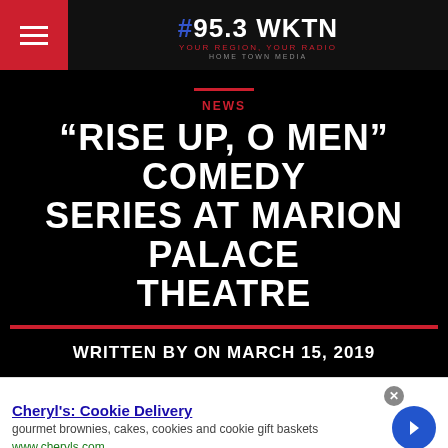#95.3 WKTN — YOUR REGION, YOUR RADIO — HOME TOWN MEDIA
NEWS
“RISE UP, O MEN” COMEDY SERIES AT MARION PALACE THEATRE
WRITTEN BY ON MARCH 15, 2019
[Figure (screenshot): Advertisement for Cheryl's Cookie Delivery: gourmet brownies, cakes, cookies and cookie gift baskets. www.cheryls.com]